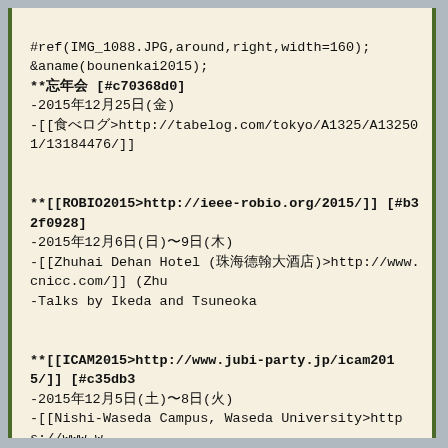#ref(IMG_1088.JPG,around,right,width=160);
&aname(bounenkai2015);
**忘年会 [#c70368d0]
-2015年12月25日(金)
-[[食べログ>http://tabelog.com/tokyo/A1325/A132501/13184476/]]
**[[ROBIO2015>http://ieee-robio.org/2015/]] [#b32f0928]
-2015年12月6日(日)〜9日(木)
-[[Zhuhai Dehan Hotel (珠海德翰大酒店)>http://www.cnicc.com/]] (Zhu
-Talks by Ikeda and Tsuneoka
**[[ICAM2015>http://www.jubi-party.jp/icam2015/]] [#c35db3
-2015年12月5日(土)〜8日(火)
-[[Nishi-Waseda Campus, Waseda University>https://www.w
-Presentations by Kumagai, Morisawa, and Ogata
**[[The 12th IEEE Transdisciplinary-Oriented Workshop for
-2015年11月28日(土)
-懸賞論文 最優秀賞受賞
-懸賞論文表彰式への参加
-学生KKE奨励賞
-日本IEEE TOWERS Supporter's Group Award受賞
-懸賞論文表彰式